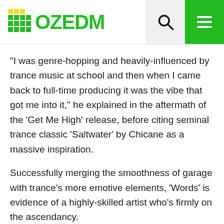OZEDM
“I was genre-hopping and heavily-influenced by trance music at school and then when I came back to full-time producing it was the vibe that got me into it,” he explained in the aftermath of the ‘Get Me High’ release, before citing seminal trance classic ‘Saltwater’ by Chicane as a massive inspiration.
Successfully merging the smoothness of garage with trance’s more emotive elements, ‘Words’ is evidence of a highly-skilled artist who’s firmly on the ascendancy.
With further releases planned throughout 2019, Franky is